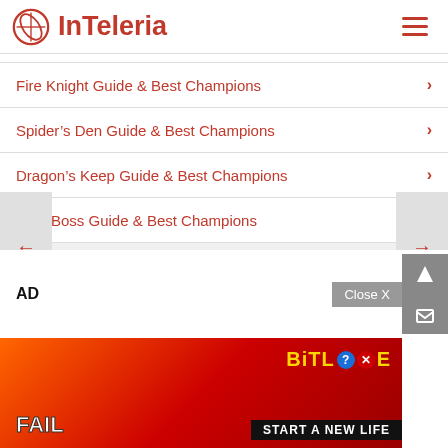InTeleria
Fire Knight Guide & Best Champions
Spider's Den Guide & Best Champions
Dragon's Keep Guide & Best Champions
Clan Boss Guide & Best Champions
FACEBOOK
AD
[Figure (screenshot): BitLife advertisement banner with 'FAIL', fire imagery, character, and 'START A NEW LIFE' text]